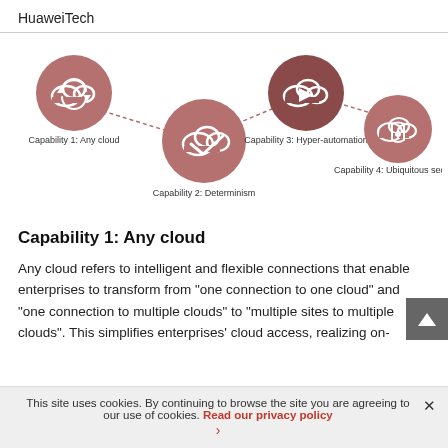HuaweiTech
[Figure (flowchart): Four cloud capability icons connected by dashed arrows in sequence: Capability 1: Any cloud (top-left), Capability 2: Determinism (center), Capability 3: Hyper-automation (top-center-right), Capability 4: Ubiquitous security (right). Icons are mauve/rose-colored circles with white cloud symbols.]
Capability 1: Any cloud
Any cloud refers to intelligent and flexible connections that enable enterprises to transform from "one connection to one cloud" and "one connection to multiple clouds" to "multiple sites to multiple clouds". This simplifies enterprises' cloud access, realizing on-
This site uses cookies. By continuing to browse the site you are agreeing to our use of cookies. Read our privacy policy ›